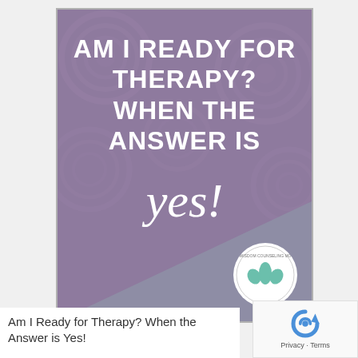[Figure (illustration): Promotional card with purple/mauve background featuring decorative rose pattern overlay. Large white all-caps text reads 'AM I READY FOR THERAPY? WHEN THE ANSWER IS' followed by large cursive white text 'yes!' A mint/teal diagonal triangle fills the lower portion. A circular logo with a lotus/leaf design and text 'WISDOM COUNSELING MO' appears in the lower right corner.]
Am I Ready for Therapy? When the Answer is Yes!
[Figure (logo): Google reCAPTCHA logo (blue recycling arrow icon)]
Privacy - Terms